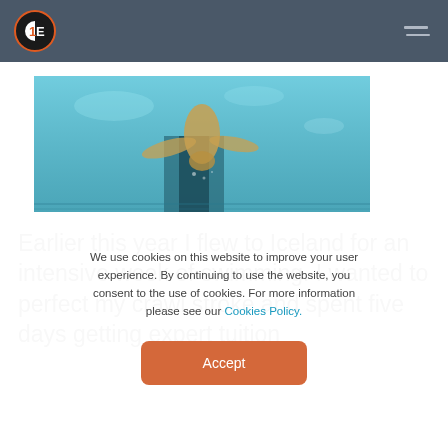1E — Navigation bar with logo and hamburger menu
[Figure (photo): Underwater photo of a swimmer doing crawl stroke in a pool, viewed from below, teal/blue water with lane lines visible]
Earlier this year I flew to Iceland for an intensive week of swimming. I wanted to perfect my crawl stroke and spent five days getting expert tuition
We use cookies on this website to improve your user experience. By continuing to use the website, you consent to the use of cookies. For more information please see our Cookies Policy.
Accept